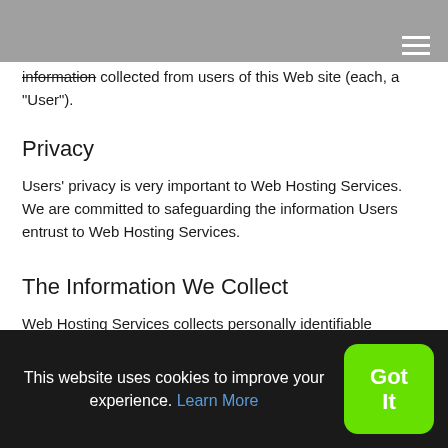This Privacy Policy governs the manner in which Web Hosting Services collects, uses, maintains and discloses information collected from users of this Web site (each, a "User").
Privacy
Users' privacy is very important to Web Hosting Services. We are committed to safeguarding the information Users entrust to Web Hosting Services.
The Information We Collect
Web Hosting Services collects personally identifiable information from Users through online forms for ordering products and
This website uses cookies to improve your experience. Learn More
Got It